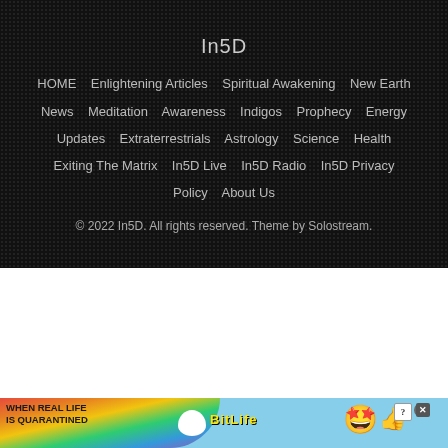In5D
HOME   Enlightening Articles   Spiritual Awakening   New Earth   News   Meditation   Awareness   Indigos   Prophecy   Energy   Updates   Extraterrestrials   Astrology   Science   Health   Exiting The Matrix   In5D Live   In5D Radio   In5D Privacy Policy   About Us
© 2022 In5D. All rights reserved. Theme by Solostream.
[Figure (screenshot): Advertisement banner for BitLife game with rainbow gradient, text 'WHEN REAL LIFE IS QUARANTINED', BitLife logo, sperm mascot, star-eyed emoji character, and thumbs up emoji. Light blue sky background.]